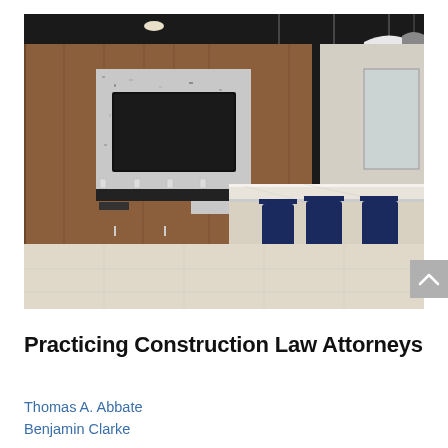[Figure (photo): Interior photo of a modern law office break room or lounge area featuring a kitchen counter with a large white quartz island, navy blue bar stools, wood-paneled walls, a large mounted TV on a stone/terrazzo accent wall, and pendant lighting with white and dark shades.]
Practicing Construction Law Attorneys
Thomas A. Abbate
Benjamin Clarke